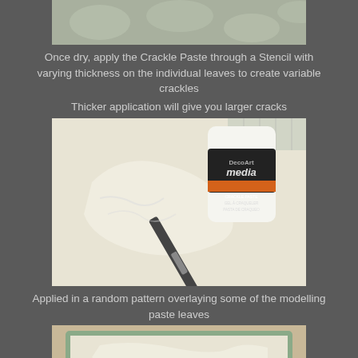[Figure (photo): Top portion of a crafting surface with leaf stencil pattern in light gray/green tones]
Once dry, apply the Crackle Paste through a Stencil with varying thickness on the individual leaves to create variable crackles
Thicker application will give you larger cracks
[Figure (photo): Photo showing a jar of DecoArt Media Crackle Paste and a palette knife spreading white paste over a leaf stencil on a white surface]
Applied in a random pattern overlaying some of the modelling paste leaves
[Figure (photo): Bottom portion showing a green-edged canvas or board with white crackle paste applied, viewed from above]